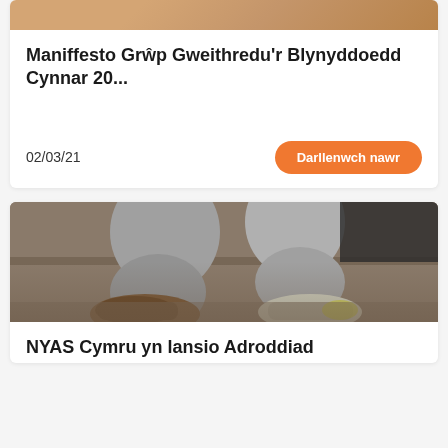[Figure (photo): Top portion of a photo, partially visible at top of page (cropped)]
Maniffesto Grŵp Gweithredu'r Blynyddoedd Cynnar 20...
02/03/21
Darllenwch nawr
[Figure (photo): Photo of a person's legs in grey sweatpants and worn sneakers, sitting on concrete steps, viewed from above]
NYAS Cymru yn lansio Adroddiad